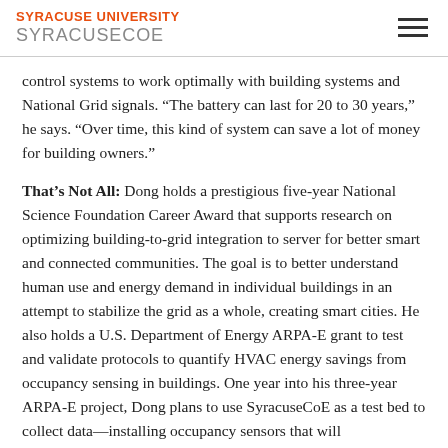SYRACUSE UNIVERSITY SYRACUSECOE
control systems to work optimally with building systems and National Grid signals. “The battery can last for 20 to 30 years,” he says. “Over time, this kind of system can save a lot of money for building owners.”
That’s Not All: Dong holds a prestigious five-year National Science Foundation Career Award that supports research on optimizing building-to-grid integration to server for better smart and connected communities. The goal is to better understand human use and energy demand in individual buildings in an attempt to stabilize the grid as a whole, creating smart cities. He also holds a U.S. Department of Energy ARPA-E grant to test and validate protocols to quantify HVAC energy savings from occupancy sensing in buildings. One year into his three-year ARPA-E project, Dong plans to use SyracuseCoE as a test bed to collect data—installing occupancy sensors that will automatically adjust HVAC set points based on the